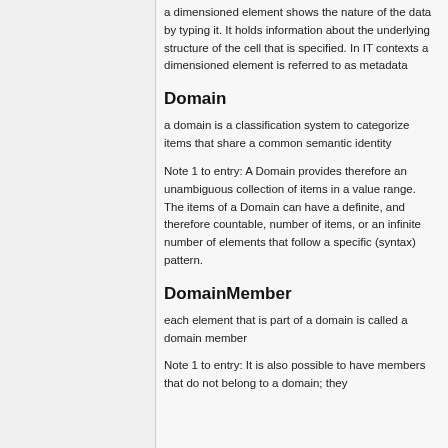a dimensioned element shows the nature of the data by typing it. It holds information about the underlying structure of the cell that is specified. In IT contexts a dimensioned element is referred to as metadata
Domain
a domain is a classification system to categorize items that share a common semantic identity
Note 1 to entry: A Domain provides therefore an unambiguous collection of items in a value range. The items of a Domain can have a definite, and therefore countable, number of items, or an infinite number of elements that follow a specific (syntax) pattern.
DomainMember
each element that is part of a domain is called a domain member
Note 1 to entry: It is also possible to have members that do not belong to a domain; they